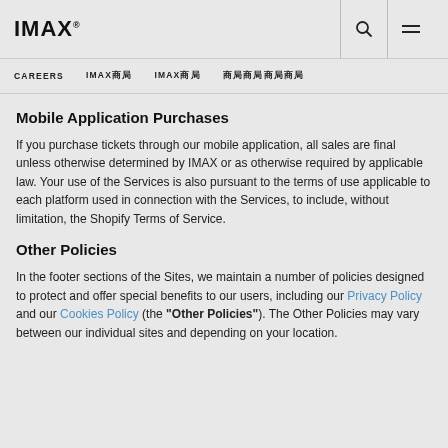IMAX
CAREERS  IMAX商局  IMAX商局  商局商局商局商局
Mobile Application Purchases
If you purchase tickets through our mobile application, all sales are final unless otherwise determined by IMAX or as otherwise required by applicable law. Your use of the Services is also pursuant to the terms of use applicable to each platform used in connection with the Services, to include, without limitation, the Shopify Terms of Service.
Other Policies
In the footer sections of the Sites, we maintain a number of policies designed to protect and offer special benefits to our users, including our Privacy Policy and our Cookies Policy (the “Other Policies”). The Other Policies may vary between our individual sites and depending on your location.